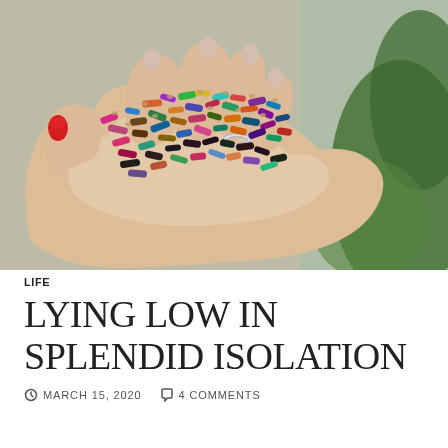[Figure (photo): A close-up photograph of a hand with a silver ring and red painted thumbnail, palm open and holding a large collection of small colorful rolled fabric or thread scraps in many colors including pink, blue, orange, purple, teal, black, and multicolor. Green leaves visible in the background.]
LIFE
LYING LOW IN SPLENDID ISOLATION
MARCH 15, 2020   4 COMMENTS